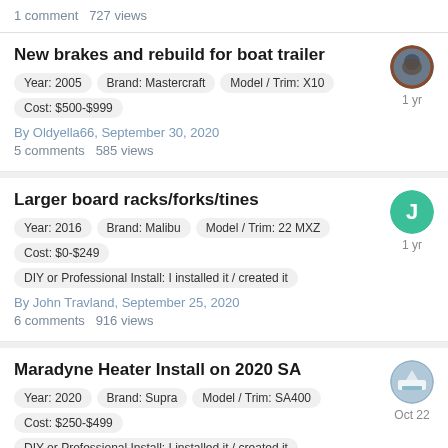1 comment   727 views
New brakes and rebuild for boat trailer
Year: 2005   Brand: Mastercraft   Model / Trim: X10   Cost: $500-$999
By Oldyella66, September 30, 2020
5 comments   585 views
Larger board racks/forks/tines
Year: 2016   Brand: Malibu   Model / Trim: 22 MXZ   Cost: $0-$249   DIY or Professional Install: I installed it / created it
By John Travland, September 25, 2020
6 comments   916 views
Maradyne Heater Install on 2020 SA
Year: 2020   Brand: Supra   Model / Trim: SA400   Cost: $250-$499   DIY or Professional Install: I installed it / created it
By SONICJK, September 21, 2020